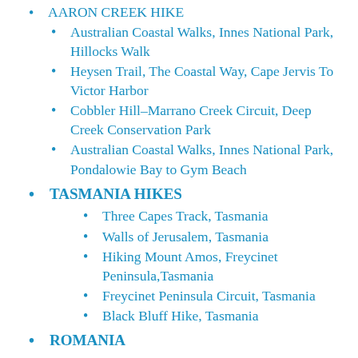AARON CREEK HIKE (partial, cut off at top)
Australian Coastal Walks, Innes National Park, Hillocks Walk
Heysen Trail, The Coastal Way, Cape Jervis To Victor Harbor
Cobbler Hill-Marrano Creek Circuit, Deep Creek Conservation Park
Australian Coastal Walks, Innes National Park, Pondalowie Bay to Gym Beach
TASMANIA HIKES
Three Capes Track, Tasmania
Walls of Jerusalem, Tasmania
Hiking Mount Amos, Freycinet Peninsula,Tasmania
Freycinet Peninsula Circuit, Tasmania
Black Bluff Hike, Tasmania
ROMANIA (partial, cut off at bottom)